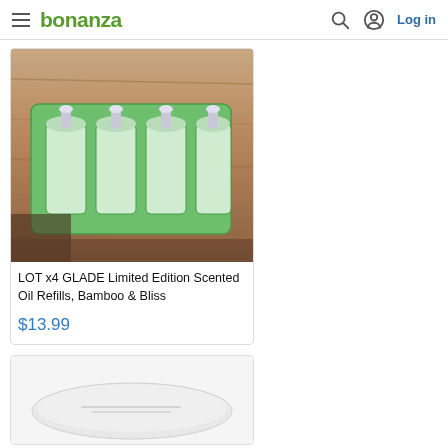bonanza | Log in
[Figure (photo): Product photo of LOT x4 GLADE Limited Edition Scented Oil Refills, Bamboo & Bliss on a wooden table]
LOT x4 GLADE Limited Edition Scented Oil Refills, Bamboo & Bliss
$13.99
[Figure (photo): Partial product photo of a second item, appears to be a white circular/oval product on white background]